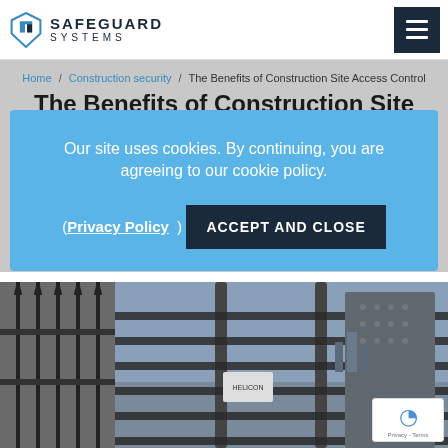Safeguard Systems
Home / Construction security / The Benefits of Construction Site Access Control
The Benefits of Construction Site Access Control
Our site uses cookies. By continuing, you are agreeing to our cookie policy. (Privacy Policy) ACCEPT AND CLOSE
[Figure (photo): Security fence with spikes on the left, and a full-height turnstile gate on the right, with a city visible in the background]